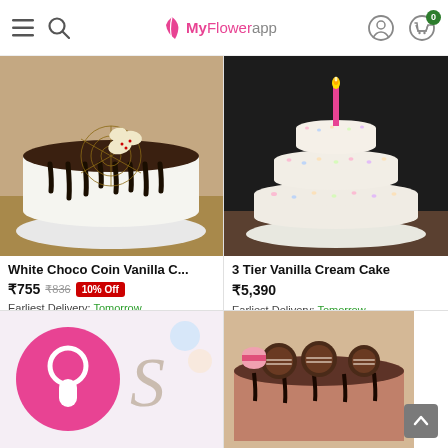MyFlowerapp navigation header with hamburger menu, search, logo, profile, and cart (0 items)
[Figure (photo): White Choco Coin Vanilla Cake with chocolate drip and butterfly decorations on top]
White Choco Coin Vanilla C...
₹755 ₹836 10% Off
Earliest Delivery: Tomorrow
[Figure (photo): 3-tier white vanilla cream cake with sprinkles and a pink candle on top]
3 Tier Vanilla Cream Cake
₹5,390
Earliest Delivery: Tomorrow
[Figure (photo): Partial view of a cake with a pink circle logo/decoration and silver script lettering]
[Figure (photo): Partial view of a dark chocolate drip cake with cookies and macarons on top]